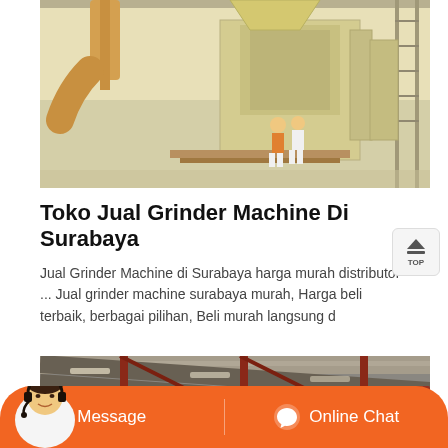[Figure (photo): Industrial warehouse interior with large yellow/cream colored grinding machine equipment and two workers visible in background]
Toko Jual Grinder Machine Di Surabaya
Jual Grinder Machine di Surabaya harga murah distributor ... Jual grinder machine surabaya murah, Harga beli terbaik, berbagai pilihan, Beli murah langsung d
[Figure (photo): Industrial factory interior with metal roof structure and green grinding machine visible]
Message
Online Chat